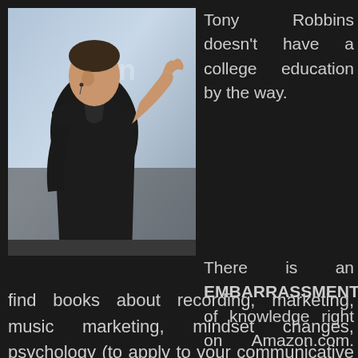[Figure (photo): Tony Robbins speaking on stage, wearing a black suit, gesturing with his right hand raised, with a conference backdrop visible behind him.]
Tony Robbins doesn't have a college education by the way.
There is an EMBARRASSMENT of knowledge right on Amazon.com. You can find books about recording, marketing, music marketing, mindset changes, psychology (to apply to your communicative exchanges with fans), management, the record business, social